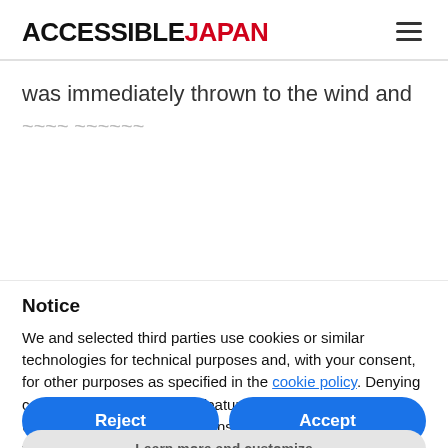ACCESSIBLEJAPAN
was immediately thrown to the wind and
Notice
We and selected third parties use cookies or similar technologies for technical purposes and, with your consent, for other purposes as specified in the cookie policy. Denying consent may make related features unavailable.
Use the "Accept" button to consent to the use of such technologies. Use the "Reject" button to continue without accepting.
Reject
Accept
Learn more and customize